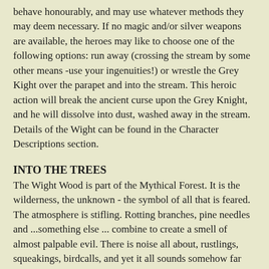behave honourably, and may use whatever methods they may deem necessary. If no magic and/or silver weapons are available, the heroes may like to choose one of the following options: run away (crossing the stream by some other means -use your ingenuities!) or wrestle the Grey Kight over the parapet and into the stream. This heroic action will break the ancient curse upon the Grey Knight, and he will dissolve into dust, washed away in the stream. Details of the Wight can be found in the Character Descriptions section.
INTO THE TREES
The Wight Wood is part of the Mythical Forest. It is the wilderness, the unknown - the symbol of all that is feared. The atmosphere is stifling. Rotting branches, pine needles and ...something else ... combine to create a smell of almost palpable evil. There is noise all about, rustlings, squeakings, birdcalls, and yet it all sounds somehow far away. Despite the noise, there is a feeling of stillness about the wood. There are some things best left undisturbed...
A track leads into the wood. The heroes would be well advised to stick to it. If they don't, then you should treat them to a series of especially nasty encounters, until they flee...